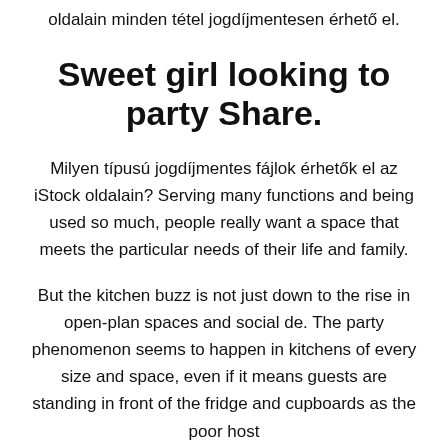oldalain minden tétel jogdíjmentesen érhető el.
Sweet girl looking to party Share.
Milyen típusú jogdíjmentes fájlok érhetők el az iStock oldalain? Serving many functions and being used so much, people really want a space that meets the particular needs of their life and family.
But the kitchen buzz is not just down to the rise in open-plan spaces and social de. The party phenomenon seems to happen in kitchens of every size and space, even if it means guests are standing in front of the fridge and cupboards as the poor host